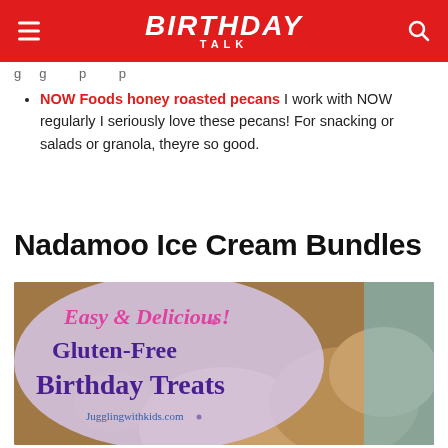BIRTHDAY TALK
g ... g ... p ... p ...
NOW Foods honey roasted pecans I work with NOW regularly I seriously love these pecans! For snacking or salads or granola, theyre so good.
Nadamoo Ice Cream Bundles
[Figure (photo): Photo of gluten-free birthday treats — cookies/ice cream balls on a table, overlaid with text 'Easy & Delicious! Gluten-Free Birthday Treats' and 'Jugglingwithkids.com']